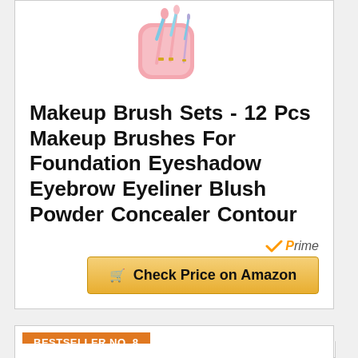[Figure (photo): Makeup brush set product photo showing pink and blue gradient brushes with a pink carrying case]
Makeup Brush Sets - 12 Pcs Makeup Brushes For Foundation Eyeshadow Eyebrow Eyeliner Blush Powder Concealer Contour
[Figure (logo): Amazon Prime logo with checkmark and italic 'prime' text in orange/gray]
Check Price on Amazon
BESTSELLER NO. 8